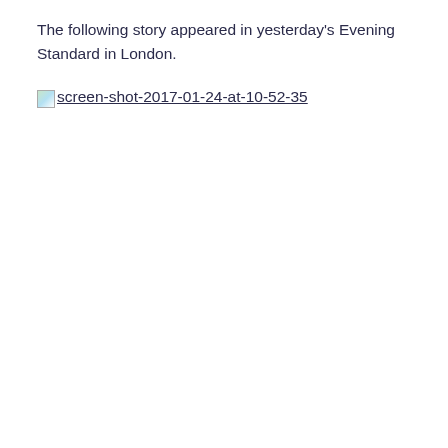The following story appeared in yesterday's Evening Standard in London.
[Figure (screenshot): Broken image placeholder with alt text 'screen-shot-2017-01-24-at-10-52-35' displayed as an image link]